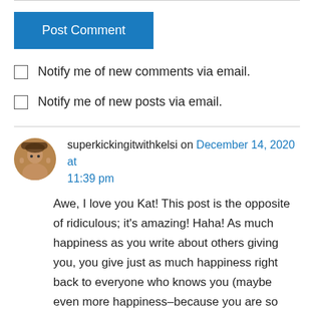[Figure (other): Post Comment button — blue rectangular button with white text]
Notify me of new comments via email.
Notify me of new posts via email.
superkickingitwithkelsi on December 14, 2020 at 11:39 pm
Awe, I love you Kat! This post is the opposite of ridiculous; it’s amazing! Haha! As much happiness as you write about others giving you, you give just as much happiness right back to everyone who knows you (maybe even more happiness–because you are so inspirational and sweet)! You and I getting even closer this year